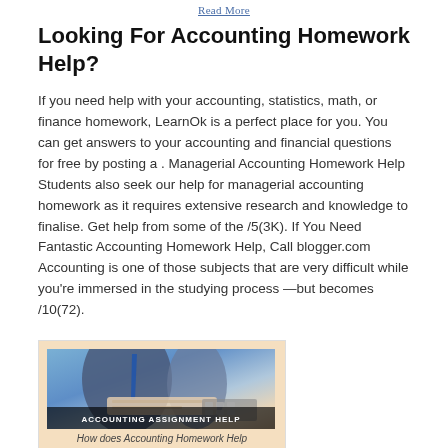Read More
Looking For Accounting Homework Help?
If you need help with your accounting, statistics, math, or finance homework, LearnOk is a perfect place for you. You can get answers to your accounting and financial questions for free by posting a . Managerial Accounting Homework Help Students also seek our help for managerial accounting homework as it requires extensive research and knowledge to finalise. Get help from some of the /5(3K). If You Need Fantastic Accounting Homework Help, Call blogger.com Accounting is one of those subjects that are very difficult while you're immersed in the studying process —but becomes /10(72).
[Figure (photo): A photo of a person in a suit working at a desk with papers, with a banner reading 'ACCOUNTING ASSIGNMENT HELP']
How does Accounting Homework Help